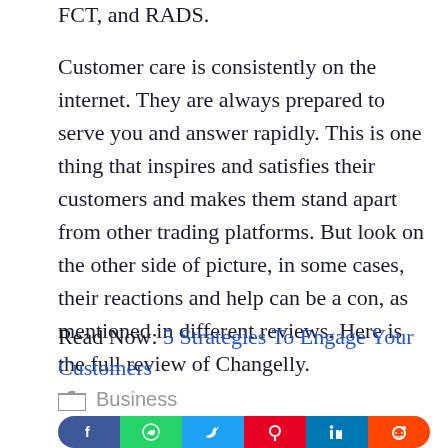FCT, and RADS.
Customer care is consistently on the internet. They are always prepared to serve you and answer rapidly. This is one thing that inspires and satisfies their customers and makes them stand apart from other trading platforms. But look on the other side of picture, in some cases, their reactions and help can be a con, as mentioned in different reviews. Here is the full review of Changelly.
Read Now: 5 Strategies To Engage Your Customers
Business
[Figure (other): Social media sharing buttons: Facebook (blue), WhatsApp (green), Twitter (light blue), Pinterest (red), LinkedIn (dark blue), Reddit (orange)]